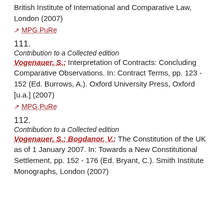British Institute of International and Comparative Law, London (2007)
↗ MPG.PuRe
111.
Contribution to a Collected edition
Vogenauer, S.: Interpretation of Contracts: Concluding Comparative Observations. In: Contract Terms, pp. 123 - 152 (Ed. Burrows, A.). Oxford University Press, Oxford [u.a.] (2007)
↗ MPG.PuRe
112.
Contribution to a Collected edition
Vogenauer, S.; Bogdanor, V.: The Constitution of the UK as of 1 January 2007. In: Towards a New Constitutional Settlement, pp. 152 - 176 (Ed. Bryant, C.). Smith Institute Monographs, London (2007)